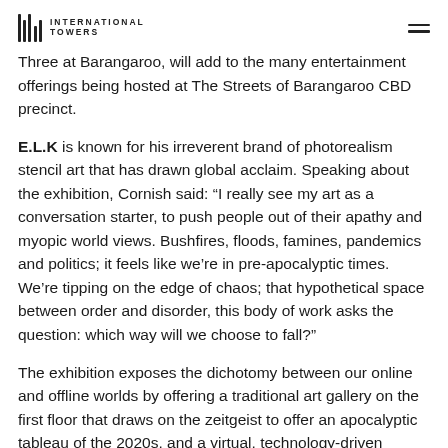INTERNATIONAL TOWERS
Three at Barangaroo, will add to the many entertainment offerings being hosted at The Streets of Barangaroo CBD precinct.
E.L.K is known for his irreverent brand of photorealism stencil art that has drawn global acclaim. Speaking about the exhibition, Cornish said: “I really see my art as a conversation starter, to push people out of their apathy and myopic world views. Bushfires, floods, famines, pandemics and politics; it feels like we’re in pre-apocalyptic times. We’re tipping on the edge of chaos; that hypothetical space between order and disorder, this body of work asks the question: which way will we choose to fall?”
The exhibition exposes the dichotomy between our online and offline worlds by offering a traditional art gallery on the first floor that draws on the zeitgeist to offer an apocalyptic tableau of the 2020s, and a virtual, technology-driven experience on the second, which introduces the role of the